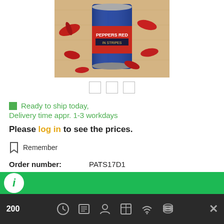[Figure (photo): Product photo of a can of Peppers Red in Stripes with red peppers arranged around it on a wooden surface]
Ready to ship today, Delivery time appr. 1-3 workdays
Please log in to see the prices.
Remember
| Order number: | PATS17D1 |
| Origin: | Türkei |